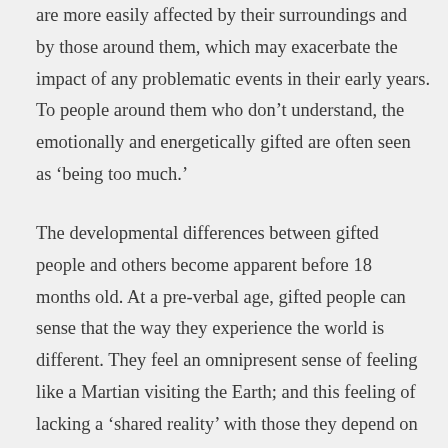are more easily affected by their surroundings and by those around them, which may exacerbate the impact of any problematic events in their early years. To people around them who don’t understand, the emotionally and energetically gifted are often seen as ‘being too much.’
The developmental differences between gifted people and others become apparent before 18 months old. At a pre-verbal age, gifted people can sense that the way they experience the world is different. They feel an omnipresent sense of feeling like a Martian visiting the Earth; and this feeling of lacking a ‘shared reality’ with those they depend on – their parents, older siblings, or elders in the family– can be terribly unsettling.